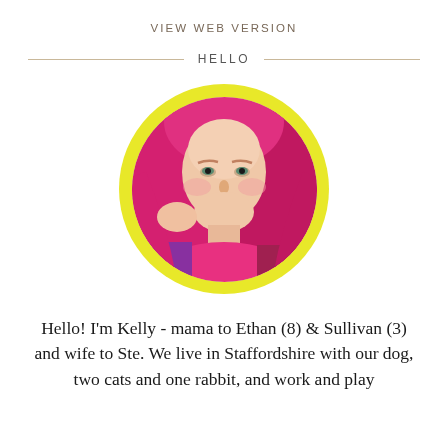VIEW WEB VERSION
HELLO
[Figure (photo): Portrait photo of a woman with bright pink/magenta hair, wearing a pink turtleneck and colorful jacket, framed in a circular yellow border]
Hello! I'm Kelly - mama to Ethan (8) & Sullivan (3) and wife to Ste. We live in Staffordshire with our dog, two cats and one rabbit, and work and play